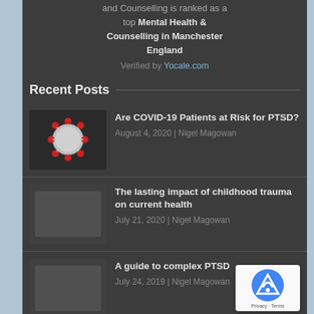and Counselling is ranked as a top Mental Health & Counselling in Manchester England
Verified by Yocale.com
Recent Posts
Are COVID-19 Patients at Risk for PTSD? | August 4, 2020 | Nigel Magowan
The lasting impact of childhood trauma on current health | July 21, 2020 | Nigel Magowan
A guide to complex PTSD | July 24, 2019 | Nigel Magowan
Somatic Therapy and EMDR for PTSD and Trauma | May 27, 2019 | Nigel Magowan